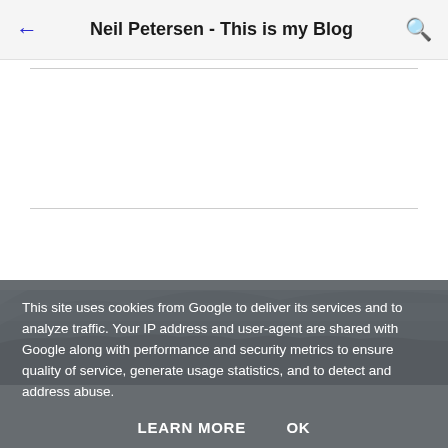Neil Petersen - This is my Blog
Enter comment
[Figure (photo): Misty mountain landscape with hills and trees in blue-grey tones]
This site uses cookies from Google to deliver its services and to analyze traffic. Your IP address and user-agent are shared with Google along with performance and security metrics to ensure quality of service, generate usage statistics, and to detect and address abuse.
LEARN MORE    OK